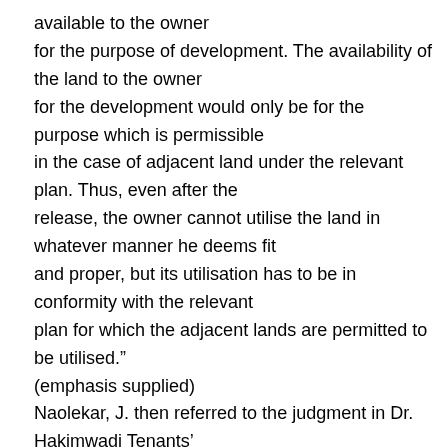available to the owner for the purpose of development. The availability of the land to the owner for the development would only be for the purpose which is permissible in the case of adjacent land under the relevant plan. Thus, even after the release, the owner cannot utilise the land in whatever manner he deems fit and proper, but its utilisation has to be in conformity with the relevant plan for which the adjacent lands are permitted to be utilised." (emphasis supplied) Naolekar, J. then referred to the judgment in Dr. Hakimwadi Tenants'